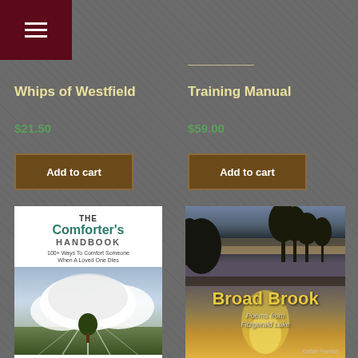[Figure (screenshot): Hamburger menu icon (three horizontal lines) on dark maroon background in top-left corner]
Whips of Westfield
$21.50
Add to cart
Training Manual
$59.00
Add to cart
[Figure (photo): Book cover: The Comforter's Handbook - 100+ Ways To Comfort Someone When A Loved One Dies. Shows a tree on a green hillside with dramatic cloudy sky.]
[Figure (photo): Book cover: Broad Brook - Poems from Fitzgerald Lake by Kathie Fiveash. Shows a lake scene with trees silhouetted against a golden sunset sky.]